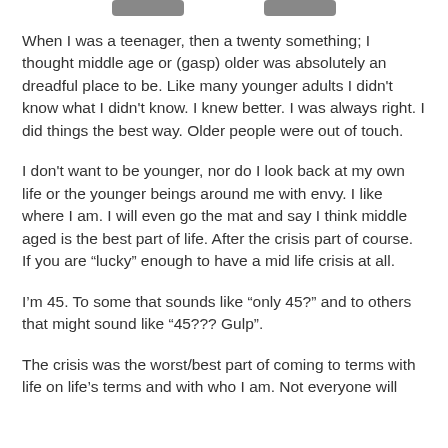[Figure (other): Two grey rounded rectangle buttons at the top of the page]
When I was a teenager, then a twenty something; I thought middle age or (gasp) older was absolutely an dreadful place to be. Like many younger adults I didn't know what I didn't know. I knew better. I was always right. I did things the best way. Older people were out of touch.
I don't want to be younger, nor do I look back at my own life or the younger beings around me with envy. I like where I am. I will even go the mat and say I think middle aged is the best part of life. After the crisis part of course. If you are “lucky” enough to have a mid life crisis at all.
I’m 45. To some that sounds like “only 45?” and to others that might sound like “45??? Gulp”.
The crisis was the worst/best part of coming to terms with life on life’s terms and with who I am. Not everyone will